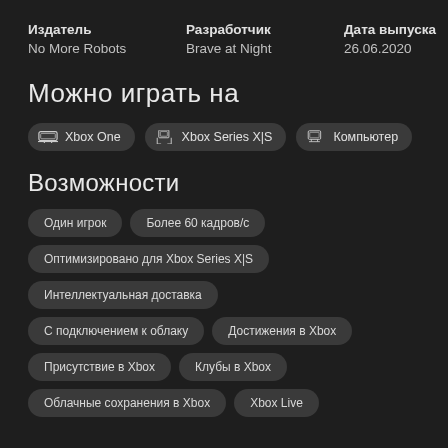| Издатель | Разработчик | Дата выпуска |
| --- | --- | --- |
| No More Robots | Brave at Night | 26.06.2020 |
Можно играть на
Xbox One
Xbox Series X|S
Компьютер
Возможности
Один игрок
Более 60 кадров/с
Оптимизировано для Xbox Series X|S
Интеллектуальная доставка
С подключением к облаку
Достижения в Xbox
Присутствие в Xbox
Клубы в Xbox
Облачные сохранения в Xbox
Xbox Live